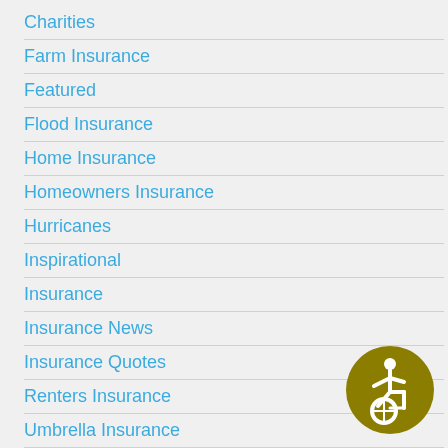Charities
Farm Insurance
Featured
Flood Insurance
Home Insurance
Homeowners Insurance
Hurricanes
Inspirational
Insurance
Insurance News
Insurance Quotes
Renters Insurance
Umbrella Insurance
Uncategorized
[Figure (illustration): Accessibility icon — gold/olive circle with wheelchair accessibility symbol in white]